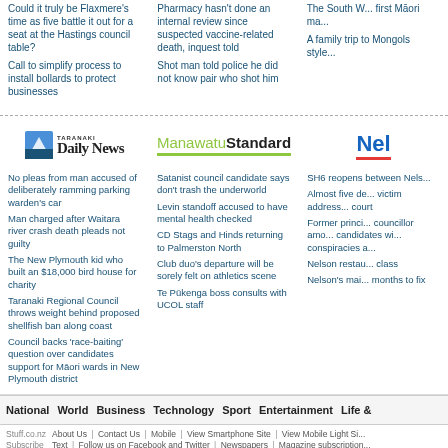Could it truly be Flaxmere's time as five battle it out for a seat at the Hastings council table?
Call to simplify process to install bollards to protect businesses
Pharmacy hasn't done an internal review since suspected vaccine-related death, inquest told
Shot man told police he did not know pair who shot him
The South W... first Māori ma...
A family trip to Mongols style...
[Figure (logo): Taranaki Daily News logo with mountain icon]
No pleas from man accused of deliberately ramming parking warden's car
Man charged after Waitara river crash death pleads not guilty
The New Plymouth kid who built an $18,000 bird house for charity
Taranaki Regional Council throws weight behind proposed shellfish ban along coast
Council backs 'race-baiting' question over candidates support for Māori wards in New Plymouth district
[Figure (logo): Manawatu Standard logo]
Satanist council candidate says don't trash the underworld
Levin standoff accused to have mental health checked
CD Stags and Hinds returning to Palmerston North
Club duo's departure will be sorely felt on athletics scene
Te Pūkenga boss consults with UCOL staff
[Figure (logo): Nel... (Nelson) logo partially visible]
SH6 reopens between Nels...
Almost five de... victim address... court
Former princi... councillor amo... candidates wi... conspiracies a...
Nelson restau... class
Nelson's mai... months to fix
National  World  Business  Technology  Sport  Entertainment  Life &
Stuff.co.nz  About Us | Contact Us | Mobile | View Smartphone Site | View Mobile Light Si...  Subscribe  Text | Follow us on Facebook and Twitter | Newspapers | Magazine subscription...